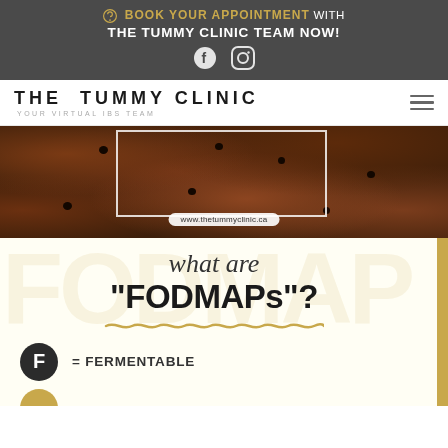BOOK YOUR APPOINTMENT WITH THE TUMMY CLINIC TEAM NOW!
THE TUMMY CLINIC — YOUR VIRTUAL IBS TEAM
[Figure (photo): Close-up photo of chocolate brownies and chocolate chips on a dark background, with a white rectangular border overlay and URL label reading www.thetummyclinic.ca]
what are "FODMAPs"?
F = FERMENTABLE